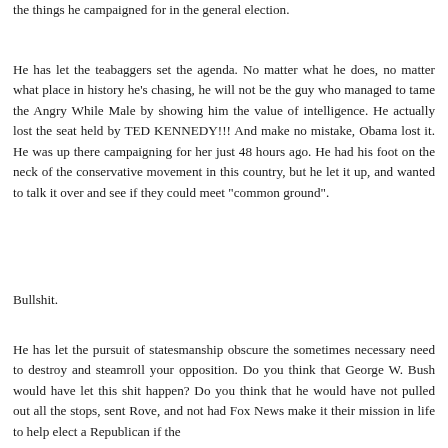the things he campaigned for in the general election.
He has let the teabaggers set the agenda. No matter what he does, no matter what place in history he's chasing, he will not be the guy who managed to tame the Angry While Male by showing him the value of intelligence. He actually lost the seat held by TED KENNEDY!!! And make no mistake, Obama lost it. He was up there campaigning for her just 48 hours ago. He had his foot on the neck of the conservative movement in this country, but he let it up, and wanted to talk it over and see if they could meet "common ground".
Bullshit.
He has let the pursuit of statesmanship obscure the sometimes necessary need to destroy and steamroll your opposition. Do you think that George W. Bush would have let this shit happen? Do you think that he would have not pulled out all the stops, sent Rove, and not had Fox News make it their mission in life to help elect a Republican if the